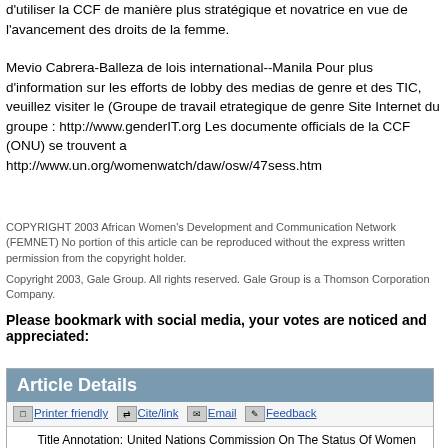d'utiliser la CCF de manière plus stratégique et novatrice en vue de l'avancement des droits de la femme.
Mevio Cabrera-Balleza de lois international--Manila Pour plus d'information sur les efforts de lobby des medias de genre et des TIC, veuillez visiter le (Groupe de travail etrategique de genre Site Internet du groupe : http://www.genderIT.org Les documente officials de la CCF (ONU) se trouvent a http://www.un.org/womenwatch/daw/osw/47sess.htm
COPYRIGHT 2003 African Women's Development and Communication Network (FEMNET) No portion of this article can be reproduced without the express written permission from the copyright holder.
Copyright 2003, Gale Group. All rights reserved. Gale Group is a Thomson Corporation Company.
Please bookmark with social media, your votes are noticed and appreciated:
Article Details
Printer friendly  Cite/link  Email  Feedback
| Label | Value |
| --- | --- |
| Title Annotation: | United Nations Commission On The Status Of Women |
| Author: | Cabrera-Balleza, Mavic |
| Publication: | Femnet News |